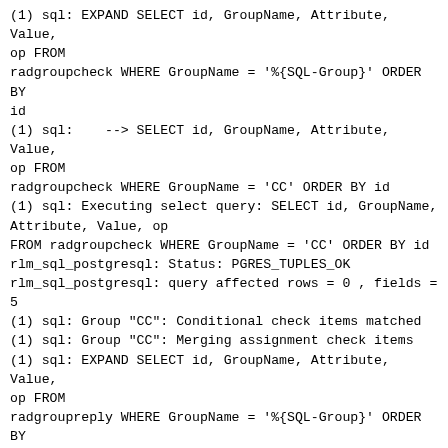(1) sql: EXPAND SELECT id, GroupName, Attribute, Value, op FROM
radgroupcheck WHERE GroupName = '%{SQL-Group}' ORDER BY id
(1) sql:    --> SELECT id, GroupName, Attribute, Value, op FROM
radgroupcheck WHERE GroupName = 'CC' ORDER BY id
(1) sql: Executing select query: SELECT id, GroupName, Attribute, Value, op
FROM radgroupcheck WHERE GroupName = 'CC' ORDER BY id
rlm_sql_postgresql: Status: PGRES_TUPLES_OK
rlm_sql_postgresql: query affected rows = 0 , fields = 5
(1) sql: Group "CC": Conditional check items matched
(1) sql: Group "CC": Merging assignment check items
(1) sql: EXPAND SELECT id, GroupName, Attribute, Value, op FROM
radgroupreply WHERE GroupName = '%{SQL-Group}' ORDER BY id
(1) sql:    --> SELECT id, GroupName, Attribute, Value, op FROM
radgroupreply WHERE GroupName = 'CC' ORDER BY id
(1) sql: Executing select query: SELECT id, GroupName, Attribute, Value, op
FROM radgroupreply WHERE GroupName = 'CC' ORDER BY id
rlm_sql_postgresql: Status: PGRES_TUPLES_OK
rlm_sql_postgresql: query affected rows = 2 , fields = 5
(1) sql: Group "CC": Merging reply items
(1) sql:   Service-Type = Framed-User